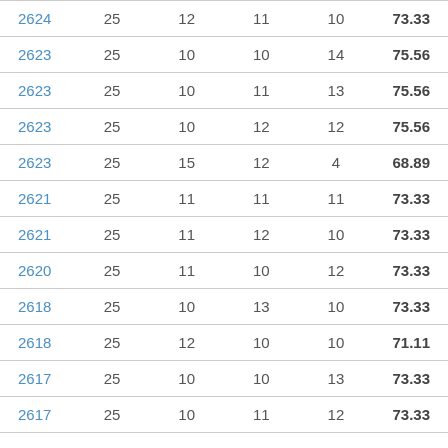| 2624 | 25 | 12 | 11 | 10 | 73.33 |
| 2623 | 25 | 10 | 10 | 14 | 75.56 |
| 2623 | 25 | 10 | 11 | 13 | 75.56 |
| 2623 | 25 | 10 | 12 | 12 | 75.56 |
| 2623 | 25 | 15 | 12 | 4 | 68.89 |
| 2621 | 25 | 11 | 11 | 11 | 73.33 |
| 2621 | 25 | 11 | 12 | 10 | 73.33 |
| 2620 | 25 | 11 | 10 | 12 | 73.33 |
| 2618 | 25 | 10 | 13 | 10 | 73.33 |
| 2618 | 25 | 12 | 10 | 10 | 71.11 |
| 2617 | 25 | 10 | 10 | 13 | 73.33 |
| 2617 | 25 | 10 | 11 | 12 | 73.33 |